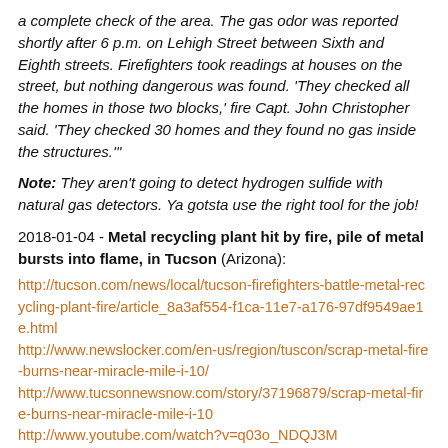a complete check of the area. The gas odor was reported shortly after 6 p.m. on Lehigh Street between Sixth and Eighth streets. Firefighters took readings at houses on the street, but nothing dangerous was found. 'They checked all the homes in those two blocks,' fire Capt. John Christopher said. 'They checked 30 homes and they found no gas inside the structures.'"
Note: They aren't going to detect hydrogen sulfide with natural gas detectors. Ya gotsta use the right tool for the job!
2018-01-04 - Metal recycling plant hit by fire, pile of metal bursts into flame, in Tucson (Arizona):
http://tucson.com/news/local/tucson-firefighters-battle-metal-recycling-plant-fire/article_8a3af554-f1ca-11e7-a176-97df9549ae1e.html http://www.newslocker.com/en-us/region/tuscon/scrap-metal-fire-burns-near-miracle-mile-i-10/ http://www.tucsonnewsnow.com/story/37196879/scrap-metal-fire-burns-near-miracle-mile-i-10 http://www.youtube.com/watch?v=q03o_NDQJ3M